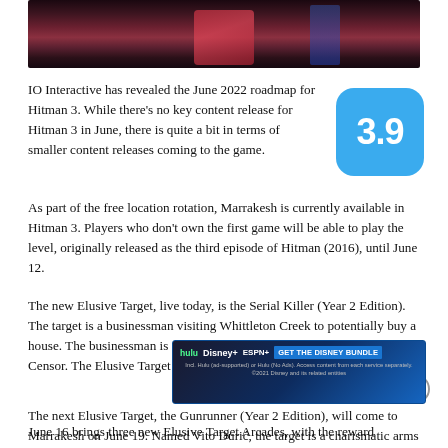[Figure (photo): Dark reddish-toned hero image of a game scene from Hitman 3]
IO Interactive has revealed the June 2022 roadmap for Hitman 3. While there's no key content release for Hitman 3 in June, there is quite a bit in terms of smaller content releases coming to the game.
[Figure (other): Blue rounded rectangle rating badge showing 3.9]
As part of the free location rotation, Marrakesh is currently available in Hitman 3. Players who don't own the first game will be able to play the level, originally released as the third episode of Hitman (2016), until June 12.
The new Elusive Target, live today, is the Serial Killer (Year 2 Edition). The target is a businessman visiting Whittleton Creek to potentially buy a house. The businessman is also secretly a serial killer known as The Censor. The Elusive Target will be active for 10 days.
The next Elusive Target, the Gunrunner (Year 2 Edition), will come to Marrakesh on June 19. Named Vito Durić, the target is a charismatic arms dea…ng for anyone. …10.
[Figure (screenshot): Disney Bundle advertisement banner with Hulu, Disney+, ESPN+ logos and GET THE DISNEY BUNDLE call to action]
June 16 brings three new Elusive Target Arcades, with the reward